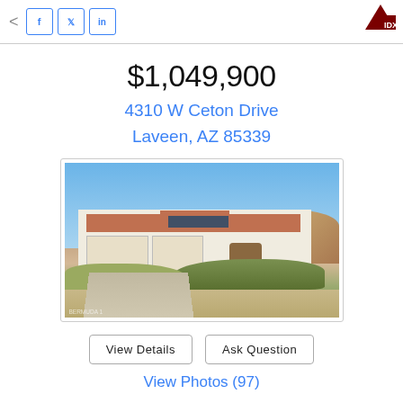Share icons: Facebook, Twitter, LinkedIn; IDX logo
$1,049,900
4310 W Ceton Drive
Laveen, AZ 85339
[Figure (photo): Exterior photo of a single-story southwestern-style home with solar panels, three-car garage, desert landscaping, and a clear blue sky background.]
View Details   Ask Question
View Photos (97)